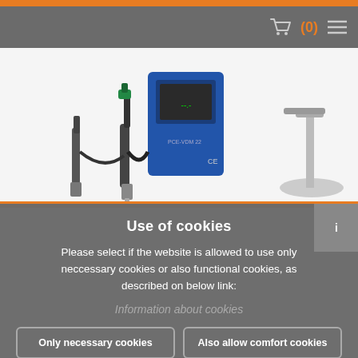PCE Instruments website navigation with logo, cart icon showing 0 items, and menu icon
[Figure (photo): PCE measurement instrument product photo on white background showing blue digital device with measurement probes and magnetic stand]
Use of cookies
Please select if the website is allowed to use only neccessary cookies or also functional cookies, as described on below link:
Information about cookies
Only necessary cookies
Also allow comfort cookies
All cookies allowed